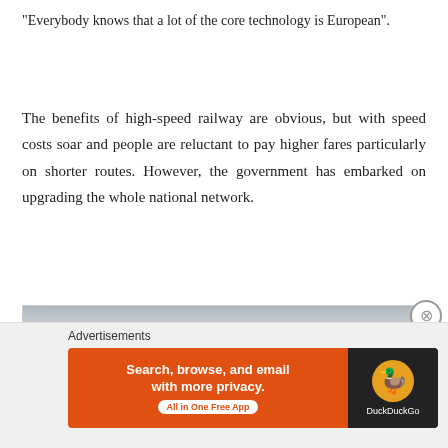“Everybody knows that a lot of the core technology is European”.
The benefits of high-speed railway are obvious, but with speed costs soar and people are reluctant to pay higher fares particularly on shorter routes. However, the government has embarked on upgrading the whole national network.
[Figure (photo): A high-speed train (CRH) on tracks with a cityscape in the background, in grayscale.]
Advertisements
[Figure (other): DuckDuckGo advertisement banner: 'Search, browse, and email with more privacy. All in One Free App' with DuckDuckGo logo on dark background.]